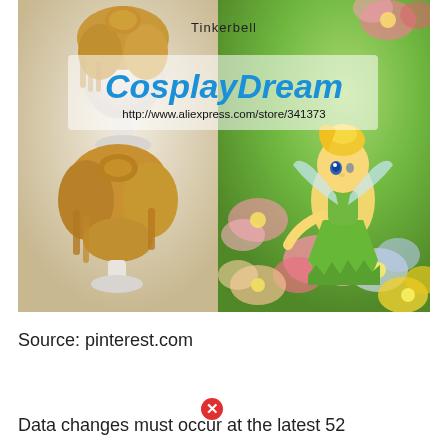[Figure (photo): Product listing image for a Tinkerbell cosplay wig from CosplayDream store on AliExpress. Left half shows a golden-blonde short wig on a white mannequin head. Right half shows the animated Tinkerbell fairy character in a green dress surrounded by colorful flowers. Overlay text shows 'Tinkerbell', 'CosplayDream' in blue italic font, and the URL http://www.aliexpress.com/store/341373.]
Source: pinterest.com
Data changes must occur at the latest 52